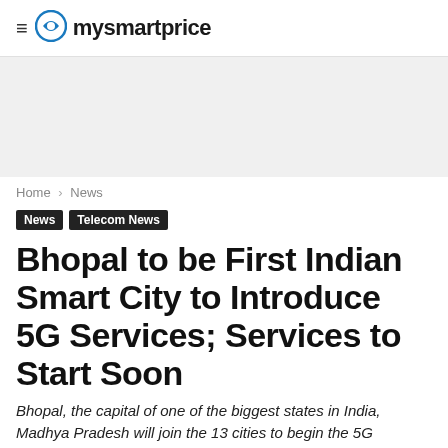≡ mysmartprice
[Figure (other): Gray advertisement banner placeholder]
Home › News
News   Telecom News
Bhopal to be First Indian Smart City to Introduce 5G Services; Services to Start Soon
Bhopal, the capital of one of the biggest states in India, Madhya Pradesh will join the 13 cities to begin the 5G pilot project…